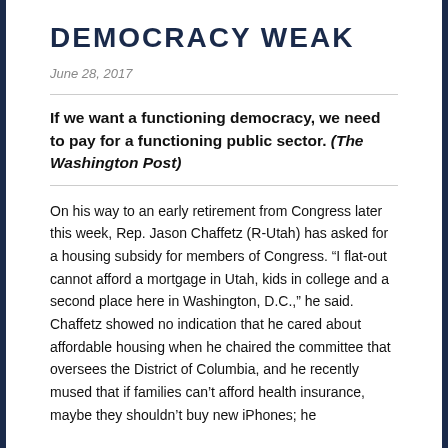DEMOCRACY WEAK
June 28, 2017
If we want a functioning democracy, we need to pay for a functioning public sector. (The Washington Post)
On his way to an early retirement from Congress later this week, Rep. Jason Chaffetz (R-Utah) has asked for a housing subsidy for members of Congress. “I flat-out cannot afford a mortgage in Utah, kids in college and a second place here in Washington, D.C.,” he said. Chaffetz showed no indication that he cared about affordable housing when he chaired the committee that oversees the District of Columbia, and he recently mused that if families can’t afford health insurance, maybe they shouldn’t buy new iPhones; he